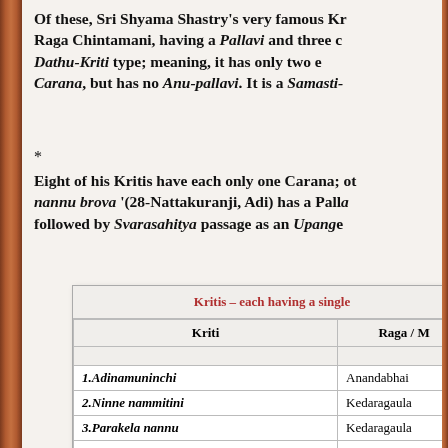Of these, Sri Shyama Shastry's very famous Kr... Raga Chintamani, having a Pallavi and three c... Dathu-Kriti type; meaning, it has only two e... Carana, but has no Anu-pallavi. It is a Samasti-
*
Eight of his Kritis have each only one Carana; ot... nannu brova '(28-Nattakuranji, Adi) has a Palla... followed by Svarasahitya passage as an Upange
| Kriti | Raga / M |
| --- | --- |
| 1.Adinamuninchi | Anandabhai |
| 2.Ninne nammitini | Kedaragaula |
| 3.Parakela nannu | Kedaragaulagaru |
| 4.Kamakshi nato | Begada (29) |
| 5.Brovavamma bangaru | Nilambari (2 |
| 6.Rave Parvatharajakumari | Kalyani (65) |
| 7.Shankari Shankari | Kalyani (65) |